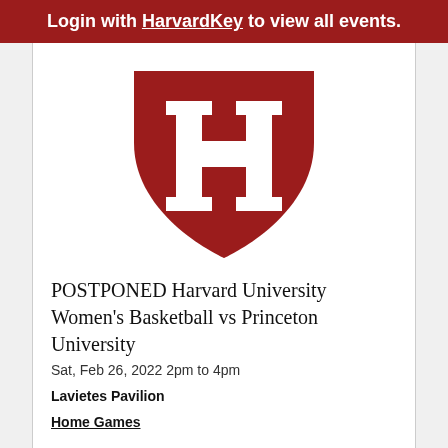Login with HarvardKey to view all events.
[Figure (logo): Harvard University shield logo — dark red shield shape with a white block letter H in the center]
POSTPONED Harvard University Women's Basketball vs Princeton University
Sat, Feb 26, 2022 2pm to 4pm
Lavietes Pavilion
Home Games
Hide map ↑